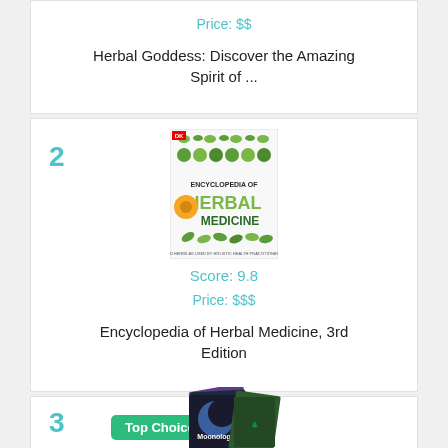Price: $$
Herbal Goddess: Discover the Amazing Spirit of ...
2
[Figure (photo): Book cover of Encyclopedia of Herbal Medicine, 3rd Edition showing herbs and flowers on a white background with orange marigold flower]
Score: 9.8
Price: $$$
Encyclopedia of Herbal Medicine, 3rd Edition
3
Top Choice
[Figure (photo): Stack of books including one titled Moonology with moon imagery on the covers]